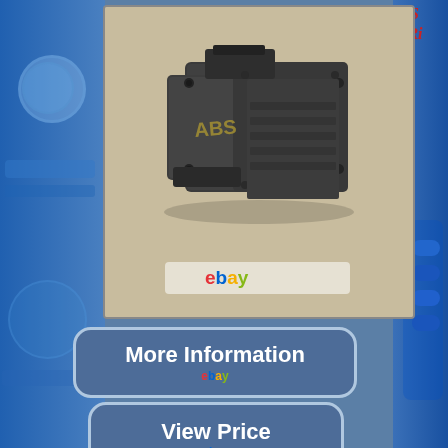[Figure (photo): Product photo of a BMW E39 ABS Pump Control unit, dark grey/black metal component, shown on a tan/beige surface, with eBay watermark at bottom]
[Figure (other): More Information button with eBay branding, rounded rectangle with white text on blue background]
[Figure (other): View Price button with eBay branding, rounded rectangle with white text on blue background]
For Reference Only: 99 BMW E39 525i ABS Pump Control Please make sure to match the part number with the one you have before purchasing! Powered by SixBit's eCommerce Solution. This item is in the category "eBay Motors\Parts & Accessories\Car & Truck Parts & Accessories\Brakes & Brake Parts\Additional ABS Parts"